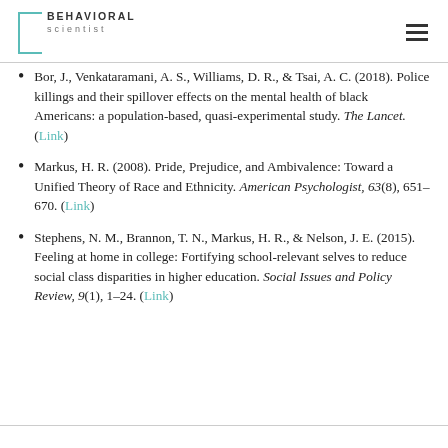BEHAVIORAL scientist
Bor, J., Venkataramani, A. S., Williams, D. R., & Tsai, A. C. (2018). Police killings and their spillover effects on the mental health of black Americans: a population-based, quasi-experimental study. The Lancet. (Link)
Markus, H. R. (2008). Pride, Prejudice, and Ambivalence: Toward a Unified Theory of Race and Ethnicity. American Psychologist, 63(8), 651–670. (Link)
Stephens, N. M., Brannon, T. N., Markus, H. R., & Nelson, J. E. (2015). Feeling at home in college: Fortifying school-relevant selves to reduce social class disparities in higher education. Social Issues and Policy Review, 9(1), 1–24. (Link)